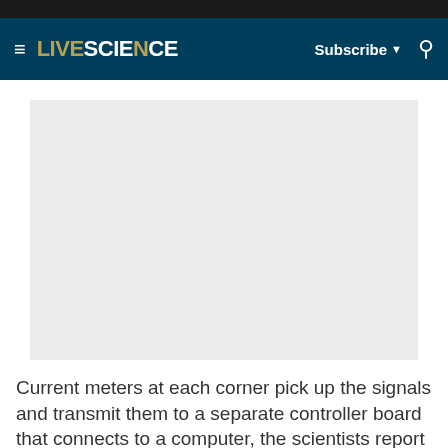LIVESCIENCE | Subscribe | Search
[Figure (photo): Gray placeholder image area for an article photo on LiveScience website]
Current meters at each corner pick up the signals and transmit them to a separate controller board that connects to a computer, the scientists report in the